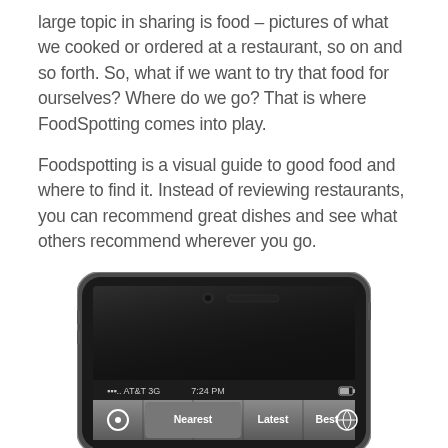large topic in sharing is food – pictures of what we cooked or ordered at a restaurant, so on and so forth. So, what if we want to try that food for ourselves? Where do we go? That is where FoodSpotting comes into play.
Foodspotting is a visual guide to good food and where to find it. Instead of reviewing restaurants, you can recommend great dishes and see what others recommend wherever you go.
[Figure (screenshot): iPhone showing FoodSpotting app with status bar (AT&T 3G, 7:24 PM) and navigation tabs: Nearest, Latest, Best]